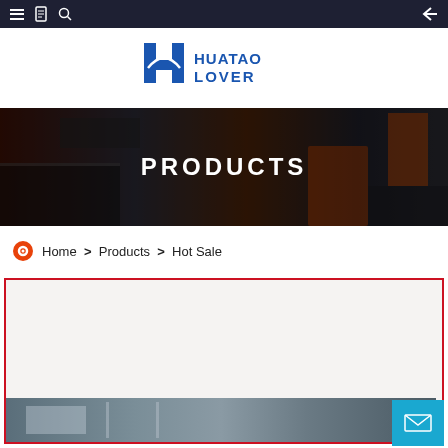Navigation bar with hamburger menu, book icon, search icon, and back arrow
[Figure (logo): Huatao Lover company logo with blue H letter and brand name]
[Figure (photo): Industrial machinery background banner with PRODUCTS text overlay]
Home > Products > Hot Sale
[Figure (photo): Product listing card area with red border showing industrial equipment image at bottom]
[Figure (other): Email/contact floating button in cyan/blue color]